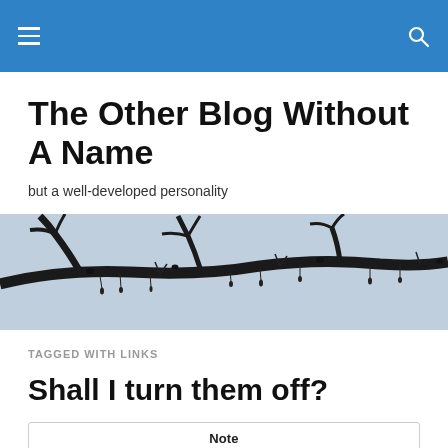The Other Blog Without A Name
but a well-developed personality
[Figure (photo): Black and white photo of bare tree branches silhouetted against a pale sky, spanning the full width of the page.]
TAGGED WITH LINKS
Shall I turn them off?
Note